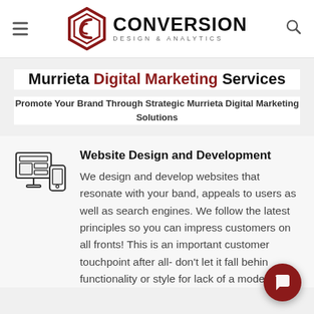Conversion Design & Analytics
Murrieta Digital Marketing Services
Promote Your Brand Through Strategic Murrieta Digital Marketing Solutions
[Figure (illustration): Website design icon showing desktop monitor and mobile phone]
Website Design and Development
We design and develop websites that resonate with your band, appeals to users as well as search engines. We follow the latest principles so you can impress customers on all fronts! This is an important customer touchpoint after all- don't let it fall behind functionality or style for lack of a modern